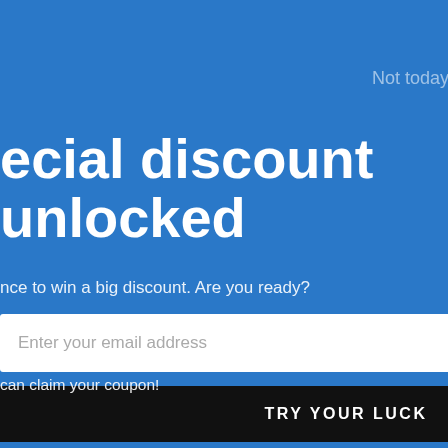[Figure (screenshot): E-commerce website screenshot showing a popup modal with a special discount offer on a blue background, overlaying a product page. The right side shows navigation icons (cart with 0 items, search), a back-to-top button, and a partial cookie consent banner.]
Not today  X
ecial discount unlocked
nce to win a big discount. Are you ready?
Enter your email address
TRY YOUR LUCK
e wheel only once.
can claim your coupon!
set to 'allow all
nce. Please click
se the site.
T  ✓